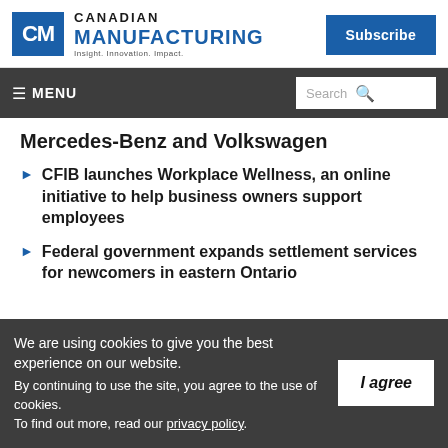Canadian Manufacturing — Insight. Innovation. Impact.
Mercedes-Benz and Volkswagen
CFIB launches Workplace Wellness, an online initiative to help business owners support employees
Federal government expands settlement services for newcomers in eastern Ontario
We are using cookies to give you the best experience on our website. By continuing to use the site, you agree to the use of cookies. To find out more, read our privacy policy.